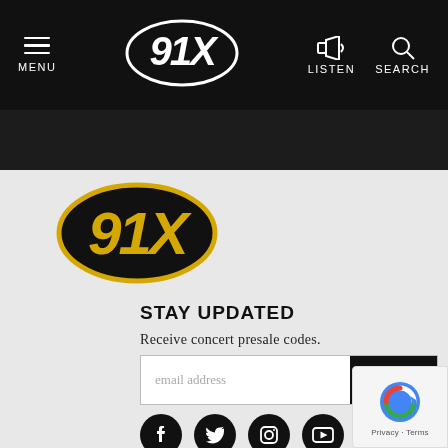MENU | 91X | LISTEN | SEARCH
[Figure (logo): 91X radio station logo — black oval with yellow '91X' text in stylized script]
STAY UPDATED
Receive concert presale codes.
[Figure (other): Email sign-up form with 'email address' placeholder and SUBMIT button]
[Figure (other): Social media icons row: Facebook, Twitter, Instagram, YouTube, Email]